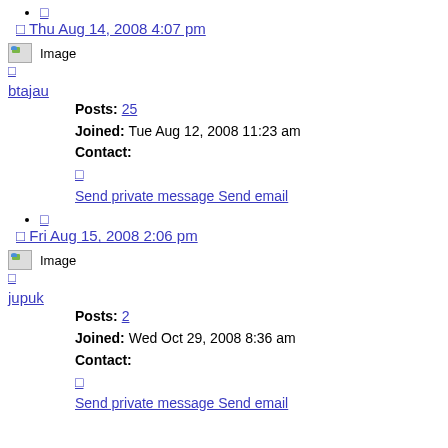□
□ Thu Aug 14, 2008 4:07 pm
[Figure (other): User avatar image placeholder labeled 'Image']
□
btajau
Posts: 25
Joined: Tue Aug 12, 2008 11:23 am
Contact:
□
Send private message Send email
□
□ Fri Aug 15, 2008 2:06 pm
[Figure (other): User avatar image placeholder labeled 'Image']
□
jupuk
Posts: 2
Joined: Wed Oct 29, 2008 8:36 am
Contact:
□
Send private message Send email